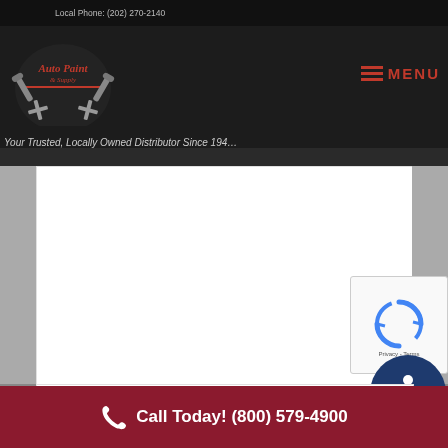Local Phone: (202) 270-2140
[Figure (logo): Auto Paint & Supply company logo with crossed tools/guns and script text]
MENU
Your Trusted, Locally Owned Distributor Since 194...
[Figure (screenshot): White content area - form or page content]
[Figure (other): reCAPTCHA widget with spinning arrows icon and Privacy - Terms text]
[Figure (other): Accessibility button with wheelchair icon on dark blue background]
[Figure (screenshot): Second white content area with partial circle visible]
Call Today! (800) 579-4900